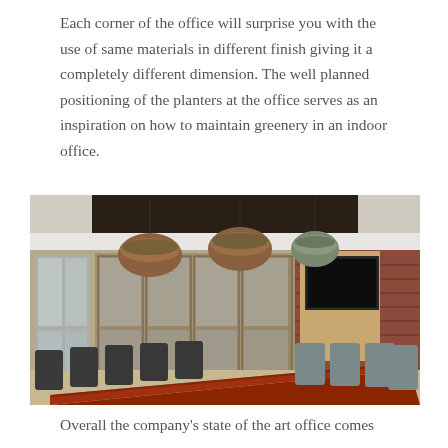Each corner of the office will surprise you with the use of same materials in different finish giving it a completely different dimension. The well planned positioning of the planters at the office serves as an inspiration on how to maintain greenery in an indoor office.
[Figure (photo): Interior photo of an industrial-style conference room with a long dark red wooden table, multiple office chairs, large pendant lights with rustic metal shades hanging from a dark ceiling, floor-to-ceiling glass-paned wooden cabinet doors in the background, brick wall with mounted flat-screen TV on the right side.]
Overall the company's state of the art office comes as a